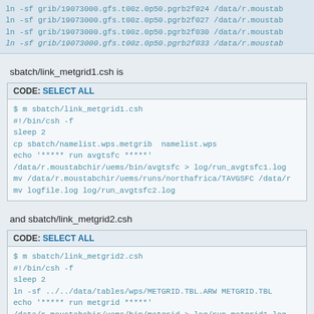ln -sf grib/19073000.gfs.t00z.0p50.pgrb2f024 /data/r.moustab
ln -sf grib/19073000.gfs.t00z.0p50.pgrb2f027 /data/r.moustab
ln -sf grib/19073000.gfs.t00z.0p50.pgrb2f030 /data/r.moustab
ln -sf grib/19073000.gfs.t00z.0p50.pgrb2f033 /data/r.moustab
sbatch/link_metgrid1.csh is
CODE: SELECT ALL
$ m sbatch/link_metgrid1.csh
#!/bin/csh -f
sleep 2
cp sbatch/namelist.wps.metgrib  namelist.wps
echo '***** run avgtsfc *****'
/data/r.moustabchir/uems/bin/avgtsfc > log/run_avgtsfc1.log
mv /data/r.moustabchir/uems/runs/northafrica/TAVGSFC /data/r
mv logfile.log log/run_avgtsfc2.log
and sbatch/link_metgrid2.csh
CODE: SELECT ALL
$ m sbatch/link_metgrid2.csh
#!/bin/csh -f
sleep 2
ln -sf ../../data/tables/wps/METGRID.TBL.ARW METGRID.TBL
echo '***** run metgrid *****'
/data/r.moustabchir/uems/bin/metgrid > log/run_metgrid1.log
rm -f GRIBFILE* Vtable  logfile.log namelist.wps  wpsprd/GFS*